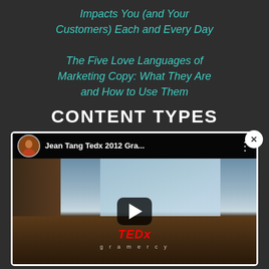Impacts You (and Your Customers) Each and Every Day

The Five Love Languages of Marketing Copy: What They Are and How to Use Them
CONTENT TYPES
[Figure (screenshot): YouTube video player showing Jean Tang TEDx 2012 Gramercy Talk with a woman on a stage, TEDx gramercy logo visible, play button overlay, close button in top right corner]
Elevator Pitch